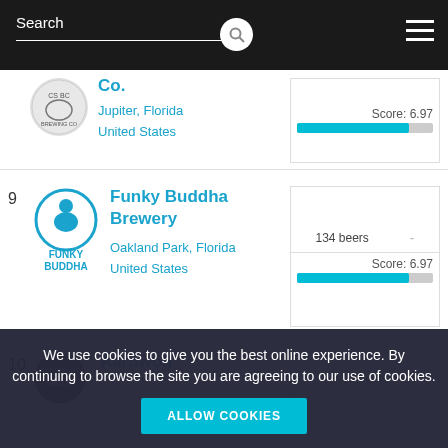Search
Co.
Jupiter, Florida
United States
Score: 6.97
9 Funky Buddha Brewery
Oakland Park, Florida
United States
134 beers
Score: 6.97
10 Aardwolf
67 beers
We use cookies to give you the best online experience. By continuing to browse the site you are agreeing to our use of cookies.
ALLOW COOKIES